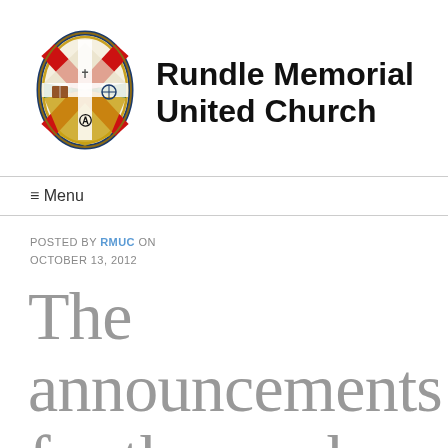[Figure (logo): Rundle Memorial United Church shield logo with cross and symbols, next to bold text 'Rundle Memorial United Church']
≡ Menu
POSTED BY RMUC ON OCTOBER 13, 2012
The announcements for the week of